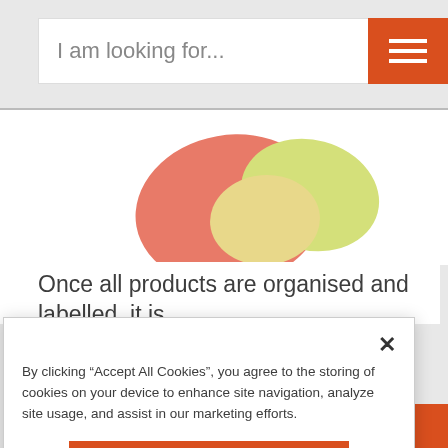I am looking for...
[Figure (illustration): Decorative colored blobs/shapes: a salmon/coral colored large blob, a yellow-green blob, and a light yellow blob arranged together on white background.]
Once all products are organised and labelled, it is time to arrange them in the right order. All to actic...
By clicking “Accept All Cookies”, you agree to the storing of cookies on your device to enhance site navigation, analyze site usage, and assist in our marketing efforts.
Accept All Cookies
Cookies Settings